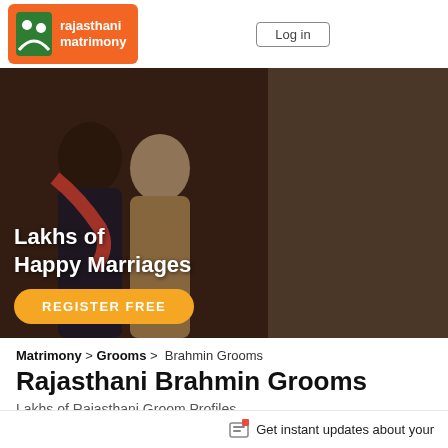[Figure (logo): Rajasthani Matrimony logo — orange box with white couple icon and white text 'rajasthani matrimony']
[Figure (photo): Hero banner showing three couple photos: left large photo of bride and groom at wedding ceremony (Indian wedding attire), top-right photo of couple in formal wear (man in blue suit, woman in orange dress), bottom-right photo of couple smiling. Text overlay: 'Lakhs of Happy Marriages' with orange 'REGISTER FREE' button.]
Matrimony > Grooms > Brahmin Grooms
Rajasthani Brahmin Grooms
Lakhs of Rajasthani Groom Profiles
Get instant updates about your